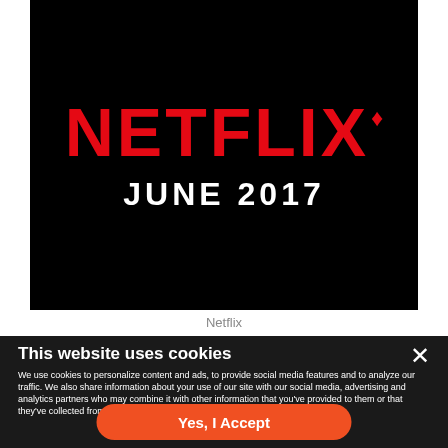[Figure (screenshot): Netflix Canada promotional image on black background showing 'NETFLIX' in large red letters with a maple leaf symbol, and 'JUNE 2017' in white bold text below]
Netflix
This website uses cookies
We use cookies to personalize content and ads, to provide social media features and to analyze our traffic. We also share information about your use of our site with our social media, advertising and analytics partners who may combine it with other information that you've provided to them or that they've collected from your use of their services. Learn More
Yes, I Accept